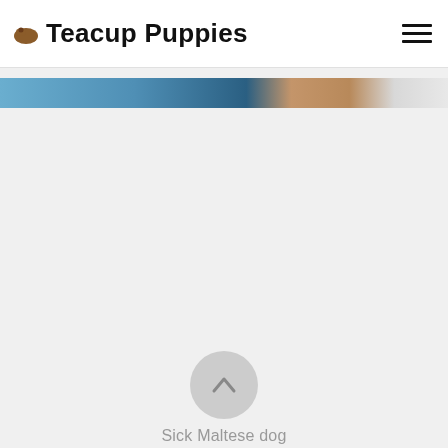Teacup Puppies
[Figure (photo): Partial view of a blurred banner image showing a puppy or dog with blue/teal and tan background tones]
[Figure (other): A circular navigation button with an upward-pointing chevron/triangle icon in gray]
Sick Maltese dog